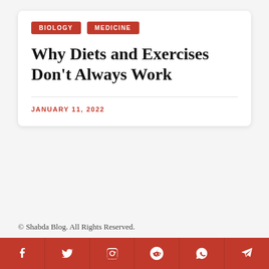BIOLOGY  MEDICINE
Why Diets and Exercises Don't Always Work
JANUARY 11, 2022
© Shabda Blog. All Rights Reserved.
[Figure (infographic): Social media share buttons: Facebook, Twitter, Instagram, Reddit, WhatsApp, Telegram]